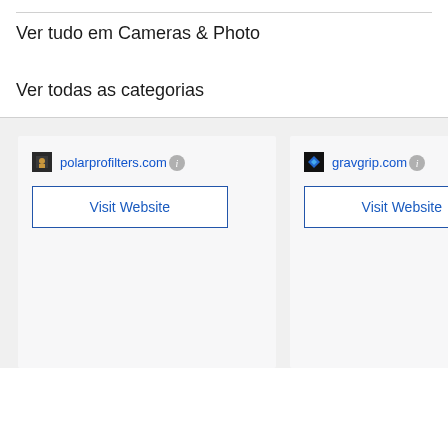Ver tudo em Cameras & Photo
Ver todas as categorias
polarprofilters.com
Visit Website
gravgrip.com
Visit Website